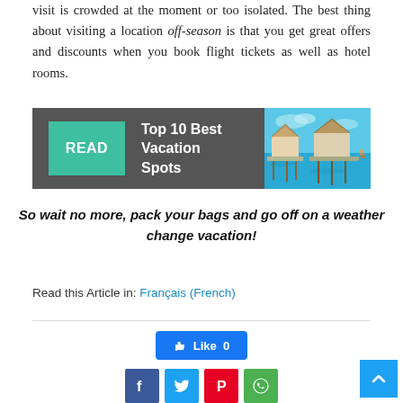visit is crowded at the moment or too isolated. The best thing about visiting a location off-season is that you get great offers and discounts when you book flight tickets as well as hotel rooms.
[Figure (other): Banner with teal READ button, text 'Top 10 Best Vacation Spots', and image of overwater bungalows on blue sea]
So wait no more, pack your bags and go off on a weather change vacation!
Read this Article in: Français (French)
[Figure (other): Facebook Like button showing Like 0, and social share icons for Facebook, Twitter, Pinterest, WhatsApp]